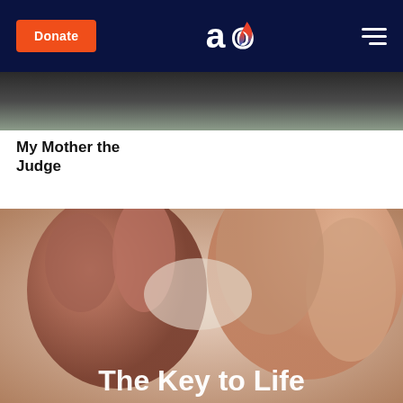Donate | [Aish logo] | [Menu]
[Figure (photo): Partial image strip of an article photo visible at top]
My Mother the Judge
[Figure (photo): Close-up photo of baby fingers/toes being held by adult hand, with overlay text 'The Key to Life']
The Key to Life